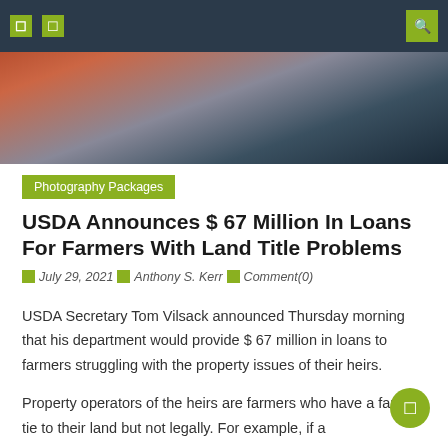Navigation bar with icons and search
[Figure (photo): Partial view of a person in a dark outfit near a building exterior, cropped at the top of the content area]
Photography Packages
USDA Announces $ 67 Million In Loans For Farmers With Land Title Problems
July 29, 2021  Anthony S. Kerr  Comment(0)
USDA Secretary Tom Vilsack announced Thursday morning that his department would provide $ 67 million in loans to farmers struggling with the property issues of their heirs.
Property operators of the heirs are farmers who have a family tie to their land but not legally. For example, if a